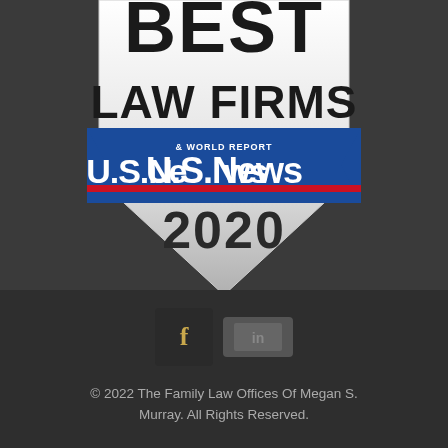[Figure (logo): U.S. News & World Report Best Law Firms 2020 badge/seal. A shield-shaped emblem with 'BEST LAW FIRMS' text at top in large bold letters, a blue banner with 'U.S.News & WORLD REPORT' logo in white, a red horizontal stripe, and '2020' in large text below on a silver/white shield background.]
[Figure (logo): Facebook icon button (dark square with gold 'f') and a LinkedIn/other social icon (dark grey rectangle), social media links row.]
© 2022 The Family Law Offices Of Megan S. Murray. All Rights Reserved.